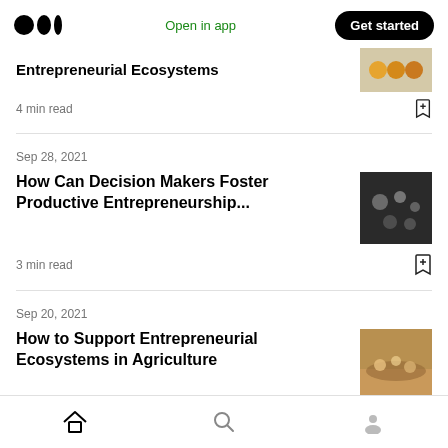Medium logo | Open in app | Get started
Entrepreneurial Ecosystems
4 min read
Sep 28, 2021
How Can Decision Makers Foster Productive Entrepreneurship...
3 min read
Sep 20, 2021
How to Support Entrepreneurial Ecosystems in Agriculture
Home | Search | Profile